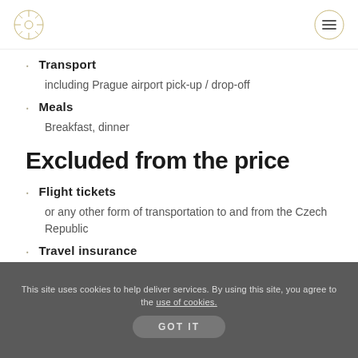Transport — including Prague airport pick-up / drop-off
Meals — Breakfast, dinner
Excluded from the price
Flight tickets — or any other form of transportation to and from the Czech Republic
Travel insurance — please note that travel insurance is compulsory
This site uses cookies to help deliver services. By using this site, you agree to the use of cookies. GOT IT